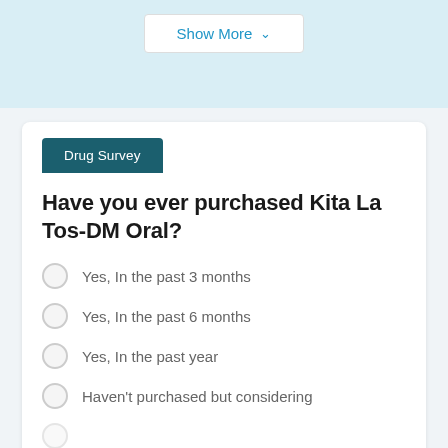Show More
Drug Survey
Have you ever purchased Kita La Tos-DM Oral?
Yes, In the past 3 months
Yes, In the past 6 months
Yes, In the past year
Haven't purchased but considering
ADVERTISEMENT
[Figure (other): Smoothie King advertisement banner: Get In On The Buzz, Smoothie King, with arrow icon]